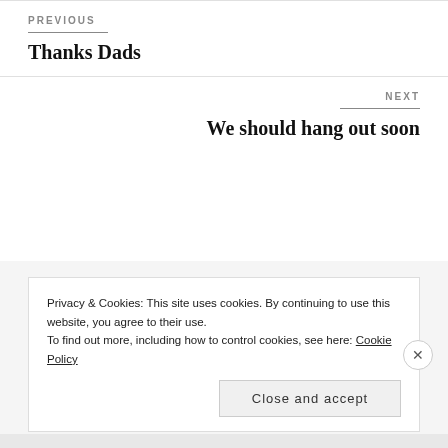PREVIOUS
Thanks Dads
NEXT
We should hang out soon
Privacy & Cookies: This site uses cookies. By continuing to use this website, you agree to their use.
To find out more, including how to control cookies, see here: Cookie Policy
Close and accept